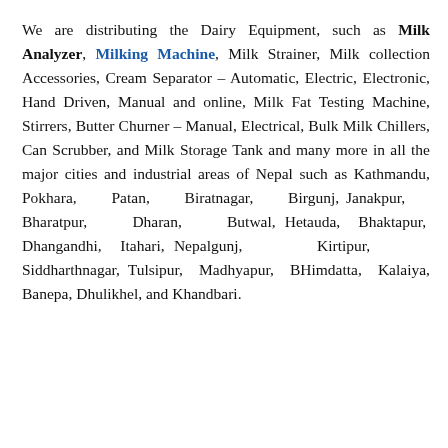We are distributing the Dairy Equipment, such as Milk Analyzer, Milking Machine, Milk Strainer, Milk collection Accessories, Cream Separator – Automatic, Electric, Electronic, Hand Driven, Manual and online, Milk Fat Testing Machine, Stirrers, Butter Churner – Manual, Electrical, Bulk Milk Chillers, Can Scrubber, and Milk Storage Tank and many more in all the major cities and industrial areas of Nepal such as Kathmandu, Pokhara, Patan, Biratnagar, Birgunj, Janakpur, Bharatpur, Dharan, Butwal, Hetauda, Bhaktapur, Dhangandhi, Itahari, Nepalgunj, Kirtipur, Siddharthnagar, Tulsipur, Madhyapur, BHimdatta, Kalaiya, Banepa, Dhulikhel, and Khandbari.